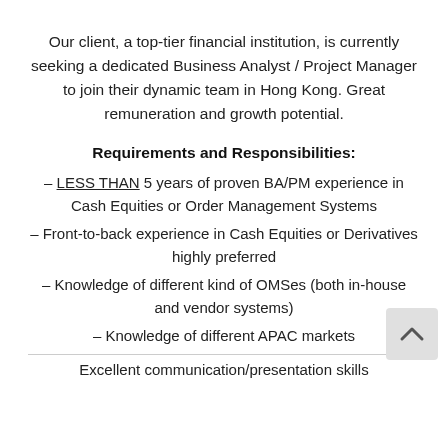Our client, a top-tier financial institution, is currently seeking a dedicated Business Analyst / Project Manager to join their dynamic team in Hong Kong. Great remuneration and growth potential.
Requirements and Responsibilities:
– LESS THAN 5 years of proven BA/PM experience in Cash Equities or Order Management Systems
– Front-to-back experience in Cash Equities or Derivatives highly preferred
– Knowledge of different kind of OMSes (both in-house and vendor systems)
– Knowledge of different APAC markets
Excellent communication/presentation skills